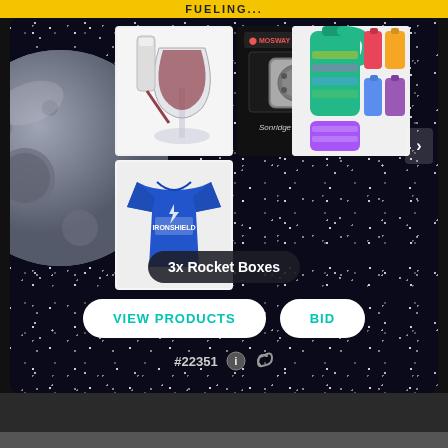FUELING...
[Figure (screenshot): Space-themed product auction card showing 4 product images: wine aerator pourer, universal socket wrench tool, motivational water bottles, and a blue t-shirt. Moon illustration on left side. Background is dark starfield.]
3x Rocket Boxes
VIEW PRODUCTS
BID
#22351